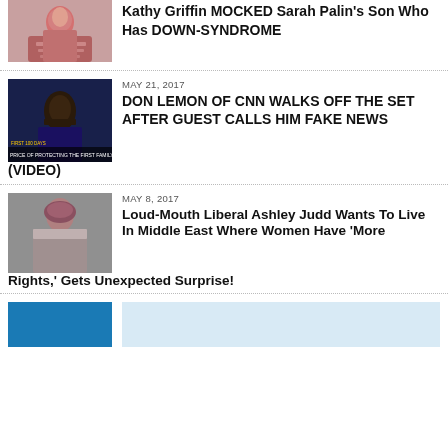[Figure (photo): Photo of a red-haired woman covering her mouth]
Kathy Griffin MOCKED Sarah Palin’s Son Who Has DOWN-SYNDROME
MAY 21, 2017
[Figure (photo): Dark photo of Don Lemon on CNN set with lower-third caption: PRICE OF PROTECTING THE FIRST FAMILY]
DON LEMON OF CNN WALKS OFF THE SET AFTER GUEST CALLS HIM FAKE NEWS (VIDEO)
MAY 8, 2017
[Figure (photo): Photo of Ashley Judd wearing a pink/mauve beanie hat]
Loud-Mouth Liberal Ashley Judd Wants To Live In Middle East Where Women Have ‘More Rights,’ Gets Unexpected Surprise!
[Figure (photo): Partial blue image at the bottom of the page]